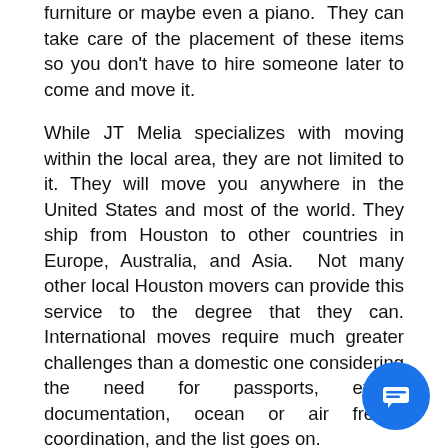furniture or maybe even a piano.  They can take care of the placement of these items so you don't have to hire someone later to come and move it.
While JT Melia specializes with moving within the local area, they are not limited to it. They will move you anywhere in the United States and most of the world. They ship from Houston to other countries in Europe, Australia, and Asia.  Not many other local Houston movers can provide this service to the degree that they can. International moves require much greater challenges than a domestic one considering the need for passports, export documentation, ocean or air freight coordination, and the list goes on.
If you aren't able to move into your new location right away or just need to store some items for a while, JT Melia also offers storage services that many other moving companies can't.  They will place your items in a sealed pallet vault to protect from damage, dust or loss.  The items can stay in storage for as long as necessary while you wait for your new home or office to get ready for you.